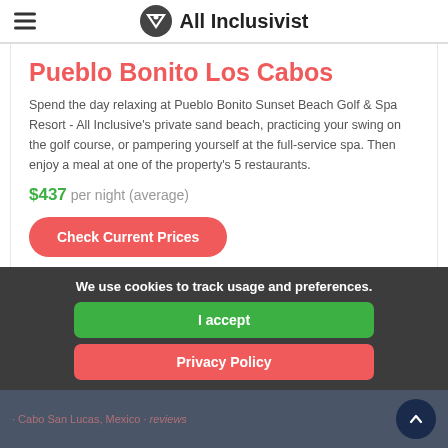All Inclusivist
Pueblo Bonito Los Cabos
Spend the day relaxing at Pueblo Bonito Sunset Beach Golf & Spa Resort - All Inclusive's private sand beach, practicing your swing on the golf course, or pampering yourself at the full-service spa. Then enjoy a meal at one of the property's 5 restaurants.
$437 per night (average)
Check Current Prices
We use cookies to track usage and preferences.
I accept
Privacy Policy
Cabo San Lucas, Mexico • reviews